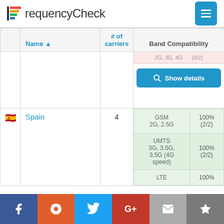FrequencyCheck
|  | Name ▲ | # of carriers | Band Compatibility |
| --- | --- | --- | --- |
|  |  |  | 2G, 3G, 4G  (0/2) — Show details |
| 🇪🇸 | Spain | 4 | GSM 2G, 2.5G 100% (2/2) | UMTS 3G, 3.5G, 3.5G (4G speed) 100% (2/2) | LTE 100% |
Facebook | Reddit | Twitter | Google+ | Email | King